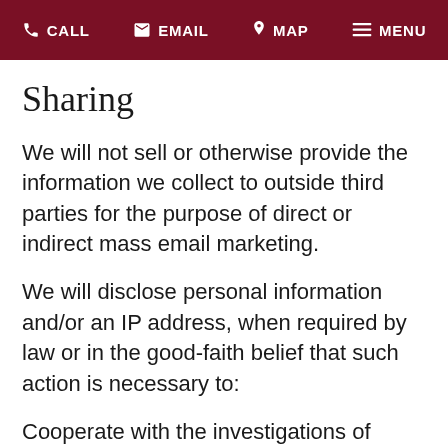CALL  EMAIL  MAP  MENU
Sharing
We will not sell or otherwise provide the information we collect to outside third parties for the purpose of direct or indirect mass email marketing.
We will disclose personal information and/or an IP address, when required by law or in the good-faith belief that such action is necessary to:
Cooperate with the investigations of purported unlawful activities and conform to the edicts of the law or comply with legal process served on our company
Protect and defend the rights or property of our Website and related properties
Identify persons who may be violating the law, the